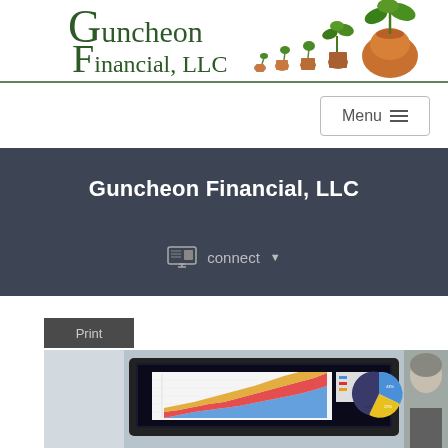[Figure (logo): Guncheon Financial LLC logo with green plant/seedling illustrations and serif text]
Menu ≡
Guncheon Financial, LLC
connect ▼
Print
[Figure (photo): Photo showing a laptop screen with financial charts (area chart and pie chart) and a person in the background]